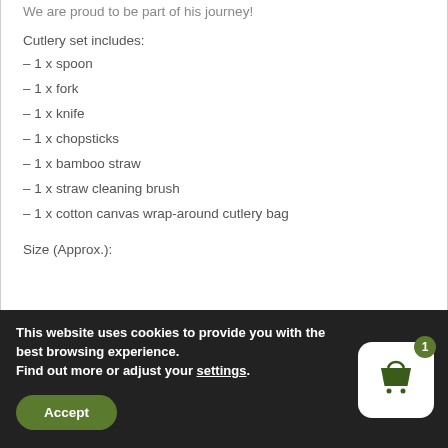We are proud to be part of his journey!
Cutlery set includes:
– 1 x spoon
– 1 x fork
– 1 x knife
– 1 x chopsticks
– 1 x bamboo straw
– 1 x straw cleaning brush
– 1 x cotton canvas wrap-around cutlery bag
Size (Approx.):
This website uses cookies to provide you with the best browsing experience. Find out more or adjust your settings.